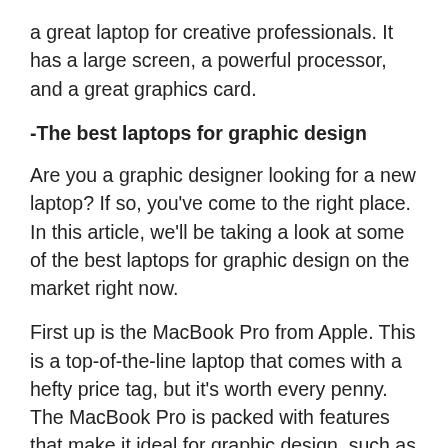a great laptop for creative professionals. It has a large screen, a powerful processor, and a great graphics card.
-The best laptops for graphic design
Are you a graphic designer looking for a new laptop? If so, you've come to the right place. In this article, we'll be taking a look at some of the best laptops for graphic design on the market right now.
First up is the MacBook Pro from Apple. This is a top-of-the-line laptop that comes with a hefty price tag, but it's worth every penny. The MacBook Pro is packed with features that make it ideal for graphic design, such as a large Retina display, a powerful processor, and top-of-the-line graphics card.
If you're looking for a more affordable option, the Dell XPS 13 is a great choice. It doesn't have all the bells and